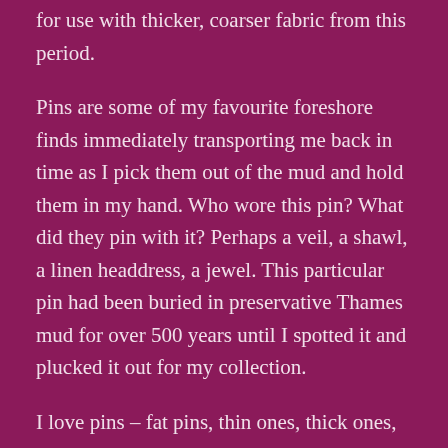for use with thicker, coarser fabric from this period.
Pins are some of my favourite foreshore finds immediately transporting me back in time as I pick them out of the mud and hold them in my hand. Who wore this pin? What did they pin with it? Perhaps a veil, a shawl, a linen headdress, a jewel. This particular pin had been buried in preservative Thames mud for over 500 years until I spotted it and plucked it out for my collection.
I love pins – fat pins, thin ones, thick ones, shawl pins – the more the merrier. Pins are a staple of a mudlark's collection. I'm drawn to their ordinariness, their functionality, longevity, uniqueness (each one is different) and that for centuries they literally pinned Londoners into their clothing. I found this pin just